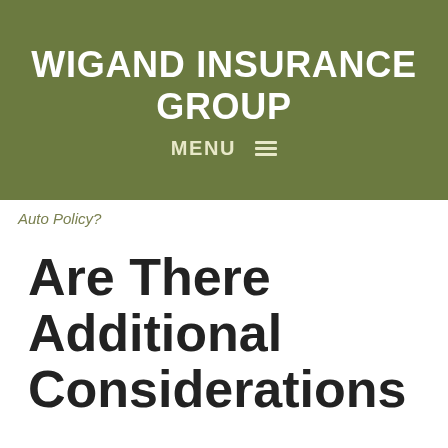WIGAND INSURANCE GROUP
MENU
Auto Policy?
Are There Additional Considerations When Adding Someone to an Auto Policy?